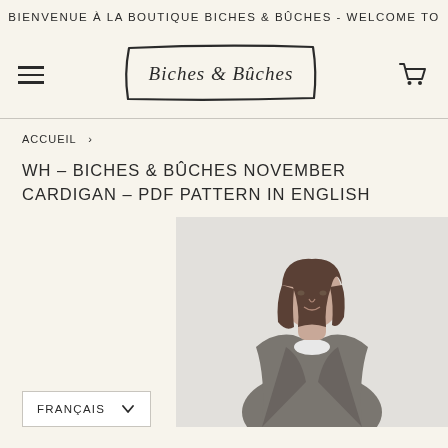BIENVENUE À LA BOUTIQUE BICHES & BÛCHES - WELCOME TO
[Figure (logo): Biches & Bûches handwritten logo in a hand-drawn rectangular border]
ACCUEIL  >
WH - BICHES & BÛCHES NOVEMBER CARDIGAN - PDF PATTERN IN ENGLISH
[Figure (photo): Woman wearing a grey knit cardigan, white background, brown hair]
FRANÇAIS  ∨